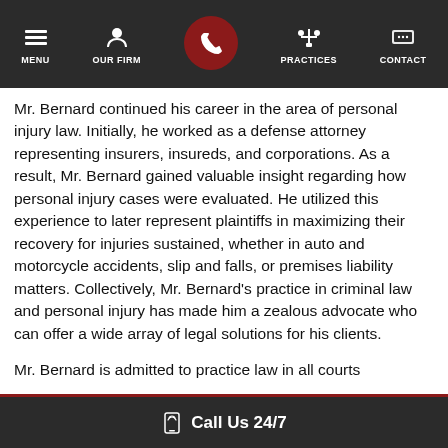MENU  OUR FIRM  [CALL]  PRACTICES  CONTACT
Mr. Bernard continued his career in the area of personal injury law. Initially, he worked as a defense attorney representing insurers, insureds, and corporations. As a result, Mr. Bernard gained valuable insight regarding how personal injury cases were evaluated. He utilized this experience to later represent plaintiffs in maximizing their recovery for injuries sustained, whether in auto and motorcycle accidents, slip and falls, or premises liability matters. Collectively, Mr. Bernard's practice in criminal law and personal injury has made him a zealous advocate who can offer a wide array of legal solutions for his clients.
Mr. Bernard is admitted to practice law in all courts
Call Us 24/7